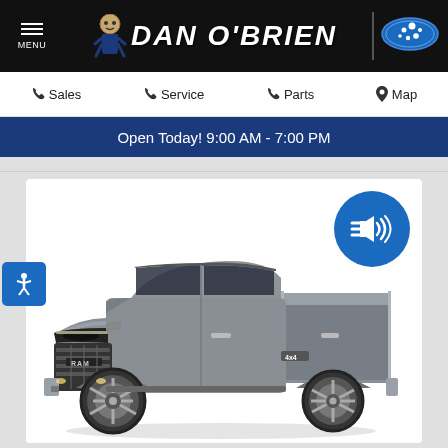MENU | DAN O'BRIEN | Subaru
Sales  Service  Parts  Map
Open Today! 9:00 AM - 7:00 PM
[Figure (photo): Gray RAM 1500 pickup truck, three-quarter front view, shown on a white background inside a dealer website vehicle card. An audio/speaker icon circle is in the top-right corner of the card. An accessibility icon is on the left edge.]